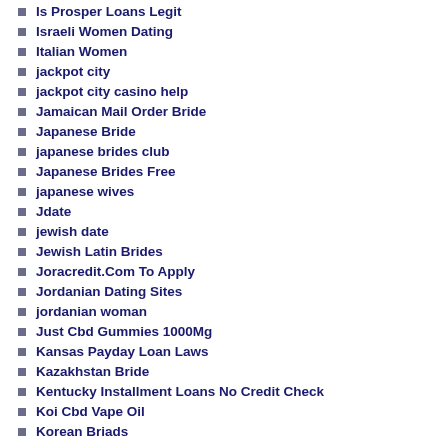Is Prosper Loans Legit
Israeli Women Dating
Italian Women
jackpot city
jackpot city casino help
Jamaican Mail Order Bride
Japanese Bride
japanese brides club
Japanese Brides Free
japanese wives
Jdate
jewish date
Jewish Latin Brides
Joracredit.Com To Apply
Jordanian Dating Sites
jordanian woman
Just Cbd Gummies 1000Mg
Kansas Payday Loan Laws
Kazakhstan Bride
Kentucky Installment Loans No Credit Check
Koi Cbd Vape Oil
Korean Briads